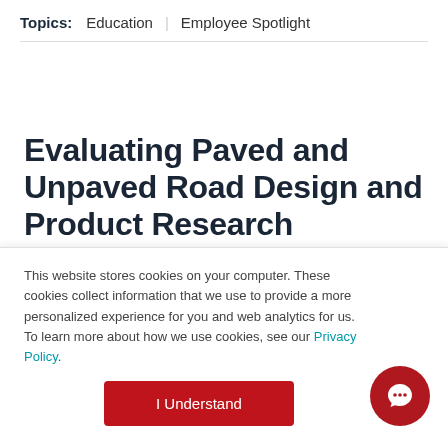Topics: Education | Employee Spotlight
Evaluating Paved and Unpaved Road Design and Product Research
by Bryan Gee, P.E., on Oct 26, 2020 12:07:48 PM
This website stores cookies on your computer. These cookies collect information that we use to provide a more personalized experience for you and web analytics for us. To learn more about how we use cookies, see our Privacy Policy.